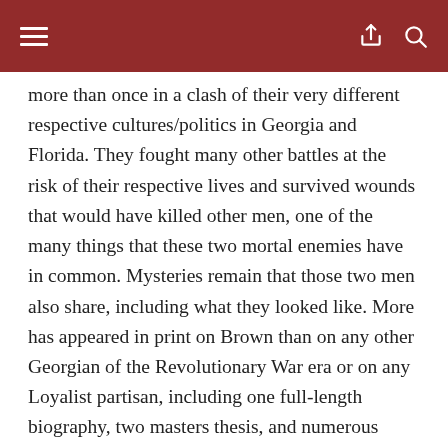≡  [share] [search]
more than once in a clash of their very different respective cultures/politics in Georgia and Florida. They fought many other battles at the risk of their respective lives and survived wounds that would have killed other men, one of the many things that these two mortal enemies have in common. Mysteries remain that those two men also share, including what they looked like. More has appeared in print on Brown than on any other Georgian of the Revolutionary War era or on any Loyalist partisan, including one full-length biography, two masters thesis, and numerous articles. This mountain of research turned up no likeness of him. Daniel Battle, researching for an upcoming archaeological survey of the Brier Creek Revolutionary War battle (March 3, 1779), however, discovered a November 2012 catalog that announced an auction of a portrait of Thomas Brown, Tory